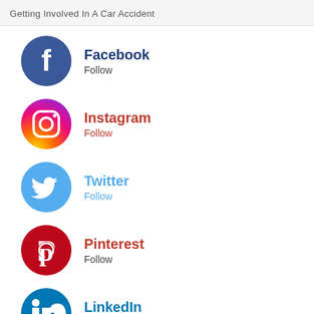Getting Involved In A Car Accident
[Figure (logo): Facebook logo circle with white F on dark blue background]
Facebook
Follow
[Figure (logo): Instagram gradient logo circle with camera icon]
Instagram
Follow
[Figure (logo): Twitter light blue circle with white bird icon]
Twitter
Follow
[Figure (logo): Pinterest red circle with white P icon]
Pinterest
Follow
[Figure (logo): LinkedIn teal circle with white 'in' text]
LinkedIn
Follow